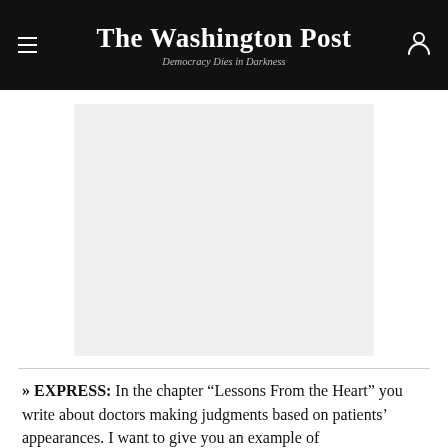The Washington Post — Democracy Dies in Darkness
[Figure (other): Advertisement or image placeholder — light gray rectangle]
» EXPRESS: In the chapter “Lessons From the Heart” you write about doctors making judgments based on patients’ appearances. I want to give you an example of